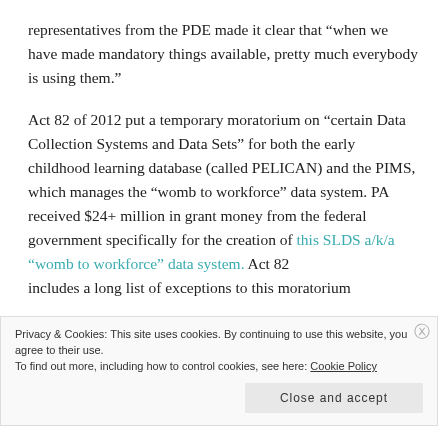representatives from the PDE made it clear that “when we have made mandatory things available, pretty much everybody is using them.”
Act 82 of 2012 put a temporary moratorium on “certain Data Collection Systems and Data Sets” for both the early childhood learning database (called PELICAN) and the PIMS, which manages the “womb to workforce” data system. PA received $24+ million in grant money from the federal government specifically for the creation of this SLDS a/k/a “womb to workforce” data system. Act 82 includes a long list of exceptions to this moratorium
Privacy & Cookies: This site uses cookies. By continuing to use this website, you agree to their use.
To find out more, including how to control cookies, see here: Cookie Policy
Close and accept